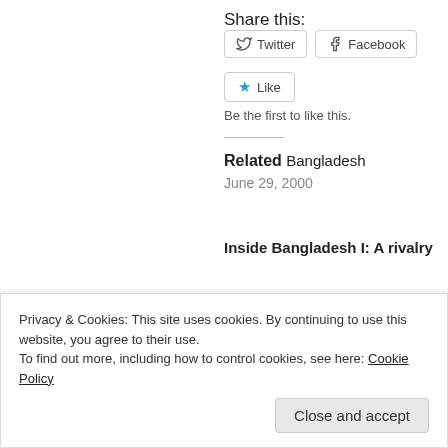Share this:
Twitter  Facebook
Like
Be the first to like this.
Related
Bangladesh
June 29, 2000
Inside Bangladesh I: A rivalry that is
Privacy & Cookies: This site uses cookies. By continuing to use this website, you agree to their use.
To find out more, including how to control cookies, see here: Cookie Policy
Close and accept